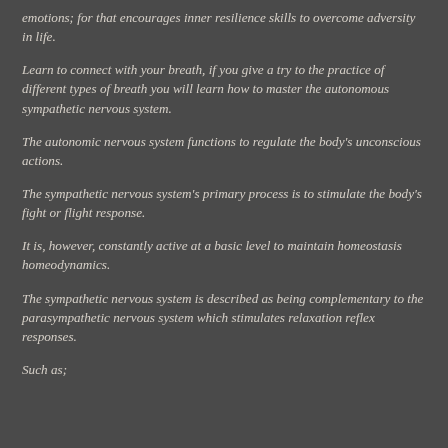emotions; for that encourages inner resilience skills to overcome adversity in life.
Learn to connect with your breath, if you give a try to the practice of different types of breath you will learn how to master the autonomous sympathetic nervous system.
The autonomic nervous system functions to regulate the body's unconscious actions.
The sympathetic nervous system's primary process is to stimulate the body's fight or flight response.
It is, however, constantly active at a basic level to maintain homeostasis homeodynamics.
The sympathetic nervous system is described as being complementary to the parasympathetic nervous system which stimulates relaxation reflex responses.
Such as;